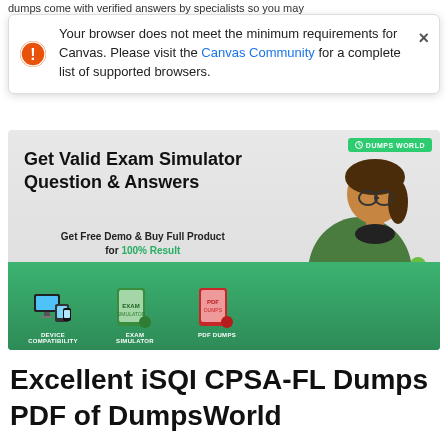dumps come with verified answers by specialists so you may
Your browser does not meet the minimum requirements for Canvas. Please visit the Canvas Community for a complete list of supported browsers.
[Figure (infographic): Dumps World ad banner showing 'Get Valid Exam Simulator Question & Answers', 'Get Free Demo & Buy Full Product for 100% Result', with device compatibility, exam simulator, and PDF dumps icons, and a woman studying on a laptop.]
Excellent iSQI CPSA-FL Dumps PDF of DumpsWorld